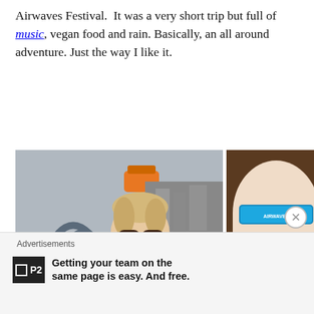Airwaves Festival.  It was a very short trip but full of music, vegan food and rain. Basically, an all around adventure. Just the way I like it.
[Figure (photo): Two photos side by side: left photo shows a woman with glasses and a houndstooth scarf taking a selfie in front of a rainy outdoor sculpture/seating area with a Burger King sign; right photo shows a wrist with a blue festival wristband held over festival merchandise/photos.]
Advertisements
[Figure (logo): P2 logo - black square with white bordered inner square and P2 text]
Getting your team on the same page is easy. And free.